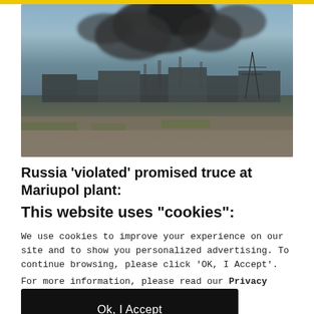[Figure (photo): Aerial view of the Azovstal steel plant in Mariupol with dark smoke billowing from industrial chimneys and structures, against a hazy sky]
Russia 'violated' promised truce at Mariupol plant: Ukrainian commander
This website uses "cookies":
We use cookies to improve your experience on our site and to show you personalized advertising. To continue browsing, please click 'OK, I Accept'.
For more information, please read our Privacy Policy